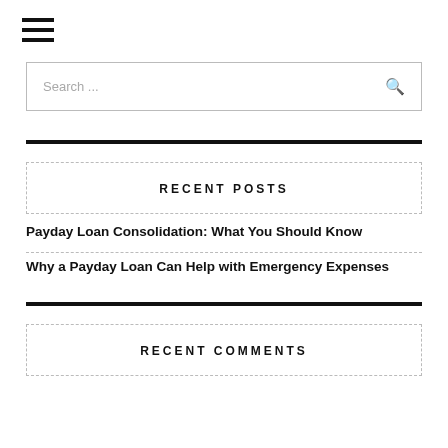[Figure (other): Hamburger menu icon with three horizontal lines]
Search ...
RECENT POSTS
Payday Loan Consolidation: What You Should Know
Why a Payday Loan Can Help with Emergency Expenses
RECENT COMMENTS